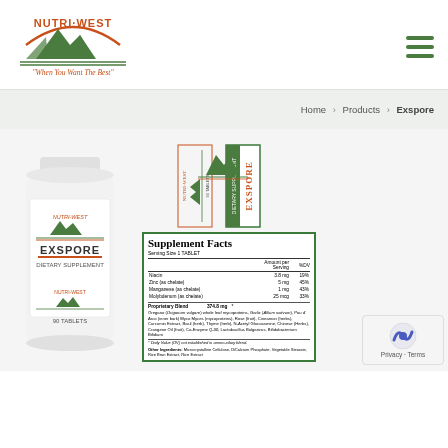[Figure (logo): Nutri-West logo with mountain graphic and tagline 'When You Want The Best']
[Figure (other): Hamburger menu icon (three green horizontal lines)]
Home > Products > Exspore
[Figure (photo): Nutri-West Exspore dietary supplement bottle, white with green/orange label, 90 tablets]
[Figure (photo): Rotated Exspore product label panels showing NUTRI-WEST branding and EXSPORE DIETARY SUPPLEMENT text]
|  | Amount per Serving | %DV |
| --- | --- | --- |
| Niacin | 3.8 mg | 19% |
| Zinc (as chelate) | 5 mg | 45% |
| Manganese (as chelate) | 1 mg | 43% |
| Molybdenum (as chelate) | 25 mcg | 33% |
| Proprietary Blend | 374.8 mg | * |
| Oregano (Origanum vulgare) whole leaf mycoproteins, Garlic (Allium sativum), Pau d' Arco (inner bark) Myco Myces (mycoproteins), Rose (fruit), Cinnamon (herbs), Curcumin Extract, Basil (herb), Thyme (herb), N-Acetyl Glucosamine, Chinese (Herbs), Crangene Oil (fruit), Co-Enzyme Q-30, Lactobacillus Bulgaricus, Bifidobacterium Bifidium |  |  |
| * Daily Value (DV) not established in ammo-cilary blend. |  |  |
| Other Ingredients: Microcrystalline Cellulose, DiCalcium Phosphate, Vegetable Stearate, Rice Bran Extract, Rice Extract |  |  |